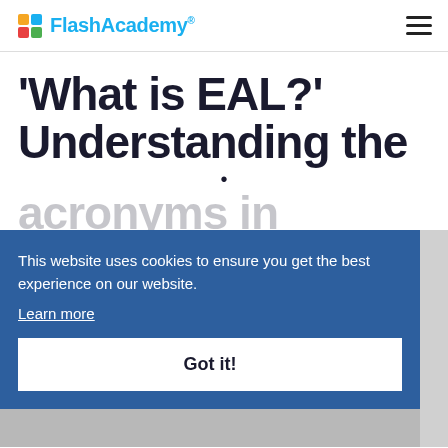FlashAcademy®
'What is EAL?' Understanding the acronyms in
This website uses cookies to ensure you get the best experience on our website.
Learn more
Got it!
[Figure (photo): Partial view of a person at the bottom of the page]